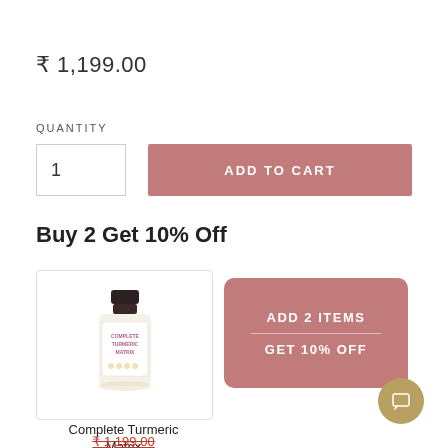₹ 1,199.00
QUANTITY
1
ADD TO CART
Buy 2 Get 10% Off
[Figure (photo): Supplement bottle - Complete Turmeric Matrix]
ADD 2 ITEMS
GET 10% OFF
Complete Turmeric Matrix
₹ 1,199.00